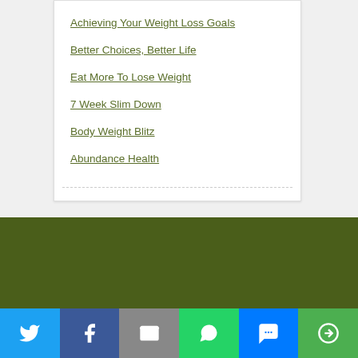Achieving Your Weight Loss Goals
Better Choices, Better Life
Eat More To Lose Weight
7 Week Slim Down
Body Weight Blitz
Abundance Health
Recent Comments
piyush on WHAT NUTRIENTS DOES THE HUMAN BODY NEED?
Alfredo on Health Videos